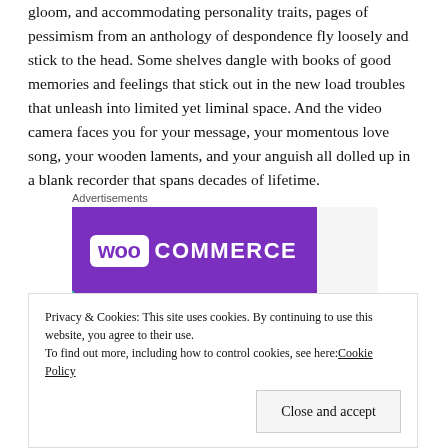gloom, and accommodating personality traits, pages of pessimism from an anthology of despondence fly loosely and stick to the head. Some shelves dangle with books of good memories and feelings that stick out in the new load troubles that unleash into limited yet liminal space. And the video camera faces you for your message, your momentous love song, your wooden laments, and your anguish all dolled up in a blank recorder that spans decades of lifetime.
Advertisements
[Figure (logo): WooCommerce advertisement banner with purple background showing WooCommerce logo in white, with a teal triangle in the lower left corner]
Privacy & Cookies: This site uses cookies. By continuing to use this website, you agree to their use.
To find out more, including how to control cookies, see here: Cookie Policy
Close and accept